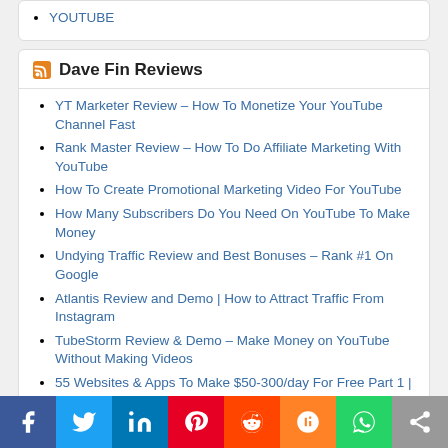YOUTUBE
Dave Fin Reviews
YT Marketer Review – How To Monetize Your YouTube Channel Fast
Rank Master Review – How To Do Affiliate Marketing With YouTube
How To Create Promotional Marketing Video For YouTube
How Many Subscribers Do You Need On YouTube To Make Money
Undying Traffic Review and Best Bonuses – Rank #1 On Google
Atlantis Review and Demo | How to Attract Traffic From Instagram
TubeStorm Review & Demo – Make Money on YouTube Without Making Videos
55 Websites & Apps To Make $50-300/day For Free Part 1 | Marissa Romero
How Martial Art Philosophies Apply To Sales And Business
10 Best Affiliate Programs to Make Recurring Passive Income in